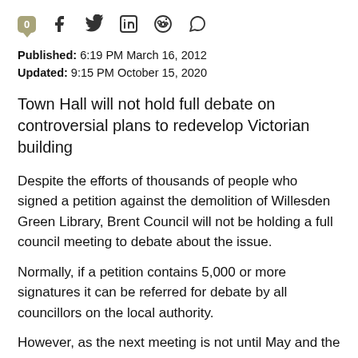[Figure (other): Social media sharing bar with comment count bubble (0), Facebook, Twitter, LinkedIn, Reddit, and WhatsApp icons]
Published: 6:19 PM March 16, 2012
Updated: 9:15 PM October 15, 2020
Town Hall will not hold full debate on controversial plans to redevelop Victorian building
Despite the efforts of thousands of people who signed a petition against the demolition of Willesden Green Library, Brent Council will not be holding a full council meeting to debate about the issue.
Normally, if a petition contains 5,000 or more signatures it can be referred for debate by all councillors on the local authority.
However, as the next meeting is not until May and the fact planning permission is already being sought, the